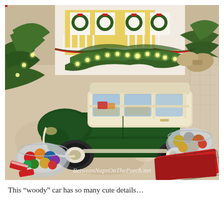[Figure (photo): A toy vintage green woody station wagon car decorated with Christmas pine branches and white fairy lights on top, placed on a table with Christmas ornaments in glass bowls, red plaid napkins, and a dollhouse with Christmas wreaths visible in the background. Watermark reads: BetweenNapsOnThePorch.net]
This “woody” car has so many cute details…